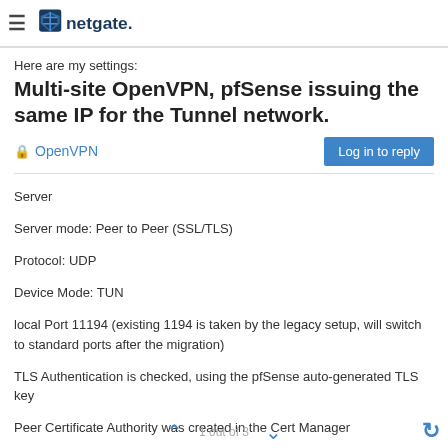netgate.
Here are my settings:
Multi-site OpenVPN, pfSense issuing the same IP for the Tunnel network.
OpenVPN
Server
Server mode: Peer to Peer (SSL/TLS)
Protocol: UDP
Device Mode: TUN
local Port 11194 (existing 1194 is taken by the legacy setup, will switch to standard ports after the migration)
TLS Authentication is checked, using the pfSense auto-generated TLS key
Peer Certificate Authority was created in the Cert Manager
No Peer Certificate Revocation list (Will implement later)
Server Certificate created in Cert Manager
DH Parameter Length 2048
Encryption: AES-128-CBC
No Hardware Crypto
Tunnel Network: 10.20.1.0/24
1 out of 3